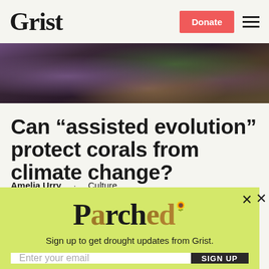Grist
[Figure (photo): Close-up photo of coral with purple and brown tones, viewed from above]
Can “assisted evolution” protect corals from climate change?
Amelia Urry · Culture
[Figure (infographic): Parched newsletter signup popup with yellow-green background, logo, email input field, and Sign Up button]
Sign up to get drought updates from Grist.
No thanks